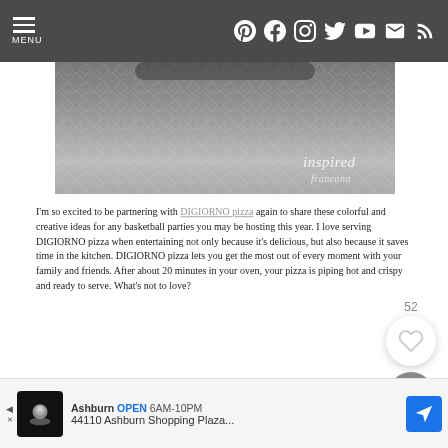MENU | Social icons: Pinterest, Facebook, Instagram, Twitter, YouTube, Email, RSS
[Figure (photo): Partial hero image with diamond-pattern background and 'inspired' watermark text in bottom right]
I'm so excited to be partnering with DIGIORNO pizza again to share these colorful and creative ideas for any basketball parties you may be hosting this year. I love serving DIGIORNO pizza when entertaining not only because it's delicious, but also because it saves time in the kitchen. DIGIORNO pizza lets you get the most out of every moment with your family and friends. After about 20 minutes in your oven, your pizza is piping hot and crispy and ready to serve. What's not to love?
[Figure (other): Like/heart button showing 52 likes and a search button overlay]
[Figure (other): Advertisement banner: Ashburn OPEN 6AM-10PM, 44110 Ashburn Shopping Plaza...]